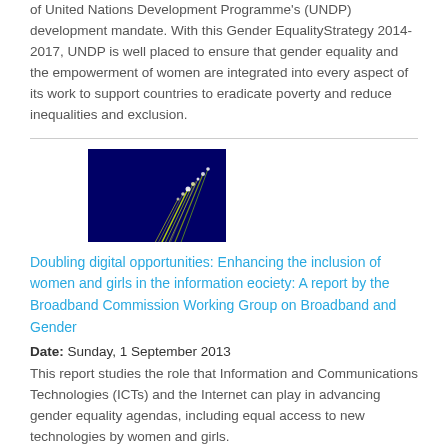of United Nations Development Programme's (UNDP) development mandate. With this Gender EqualityStrategy 2014-2017, UNDP is well placed to ensure that gender equality and the empowerment of women are integrated into every aspect of its work to support countries to eradicate poverty and reduce inequalities and exclusion.
[Figure (photo): Book cover of 'Doubling Digital Opportunities: Enhancing the Inclusion of Women and Girls in the Information Society' — dark blue background with fiber optic light streaks in yellow and green, with title text overlay]
Doubling digital opportunities: Enhancing the inclusion of women and girls in the information eociety: A report by the Broadband Commission Working Group on Broadband and Gender
Date: Sunday, 1 September 2013
This report studies the role that Information and Communications Technologies (ICTs) and the Internet can play in advancing gender equality agendas, including equal access to new technologies by women and girls.